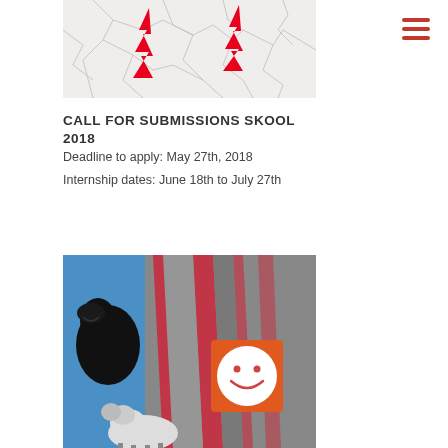[Figure (illustration): Cracked marble texture with two red lightning bolt symbols]
CALL FOR SUBMISSIONS SKOOL 2018
Deadline to apply: May 27th, 2018
Internship dates: June 18th to July 27th
[Figure (illustration): Colorful collage with a black dog, striped pattern in grays and reds, orange smiley face circle, yellow background, and sheep at bottom]